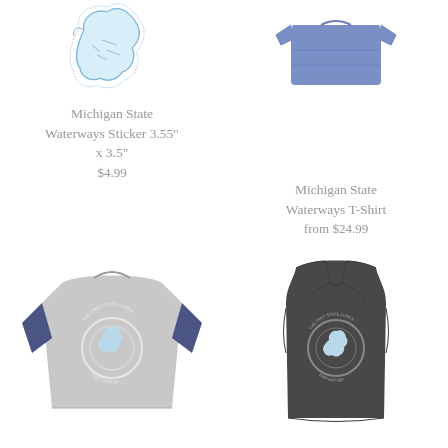[Figure (photo): Michigan State Waterways sticker, light blue outline of Michigan state with waterways, die-cut shape]
Michigan State Waterways Sticker 3.55" x 3.5"
$4.99
[Figure (photo): Blue heather Michigan State Waterways T-Shirt folded]
Michigan State Waterways T-Shirt
from $24.99
[Figure (photo): Gray and navy blue raglan baseball t-shirt with Michigan state circle graphic reading THE ONLY STATE LURES THAT MATTER]
[Figure (photo): Dark gray racerback tank top with Michigan state circle graphic reading THE ONLY STATE LURES THAT MATTER]